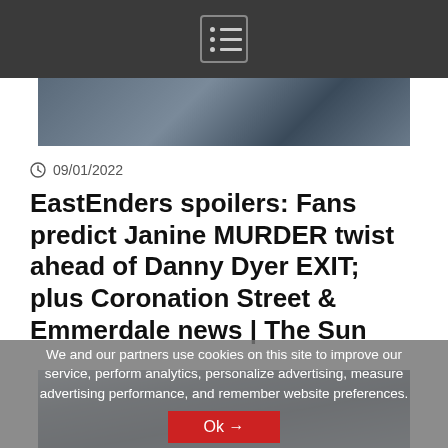[Figure (screenshot): Dark navigation bar at top with hamburger/list menu icon in a bordered box]
[Figure (photo): Partial photo strip visible at top below nav bar]
09/01/2022
EastEnders spoilers: Fans predict Janine MURDER twist ahead of Danny Dyer EXIT; plus Coronation Street & Emmerdale news | The Sun
[Figure (photo): Photo of a person outdoors with buildings in background, partially obscured by cookie consent overlay]
We and our partners use cookies on this site to improve our service, perform analytics, personalize advertising, measure advertising performance, and remember website preferences.
Ok →